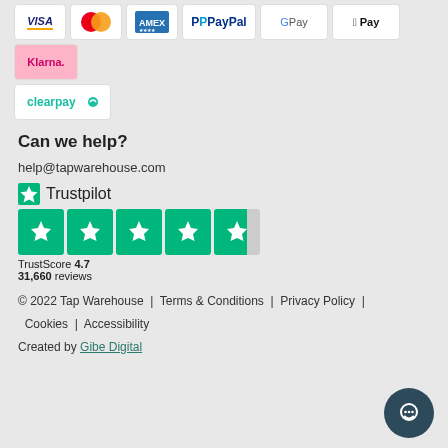[Figure (infographic): Payment method icons: Visa, Mastercard, American Express, PayPal, Google Pay, Apple Pay, Klarna, Clearpay]
Can we help?
help@tapwarehouse.com
[Figure (infographic): Trustpilot logo with green star, rating stars showing 4.7 out of 5, TrustScore 4.7, 31,660 reviews]
© 2022 Tap Warehouse | Terms & Conditions | Privacy Policy | Cookies | Accessibility
Created by Gibe Digital